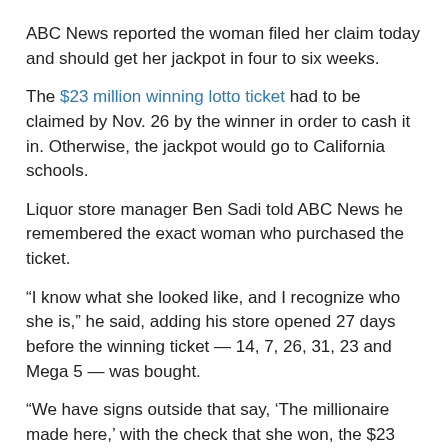ABC News reported the woman filed her claim today and should get her jackpot in four to six weeks.
The $23 million winning lotto ticket had to be claimed by Nov. 26 by the winner in order to cash it in. Otherwise, the jackpot would go to California schools.
Liquor store manager Ben Sadi told ABC News he remembered the exact woman who purchased the ticket.
“I know what she looked like, and I recognize who she is,” he said, adding his store opened 27 days before the winning ticket — 14, 7, 26, 31, 23 and Mega 5 — was bought.
“We have signs outside that say, ‘The millionaire made here,’ with the check that she won, the $23 million,” he said. “I was really really happy, really extremely happy. Our first store, we hit the lotto.”
ABC News reported Sadi’s store will receive a bonus of one half percent for selling the winning ticket, or $115,000.